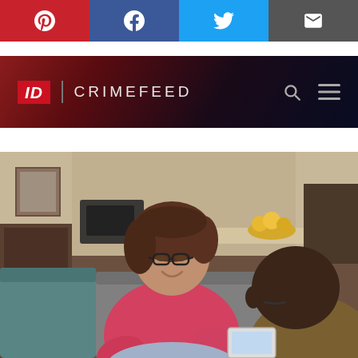[Figure (other): Social media share bar with Pinterest (red), Facebook (dark blue), Twitter (light blue), and Email (dark grey) buttons]
[Figure (logo): ID CrimeFeed navigation bar with dark red/navy gradient background, ID logo in red, CRIMEFEED text in white, search and menu icons on the right]
[Figure (photo): Photo of two people sitting on a couch having a conversation. A white woman with dark hair and glasses wearing a pink shirt is smiling and talking to a Black man wearing glasses, viewed from behind/side. Indoor living room setting with yellow pillow.]